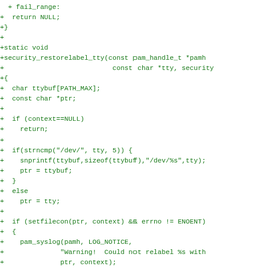[Figure (other): Source code diff (patch format) showing C code for security_restorelabel_tty function with green plus signs indicating added lines]